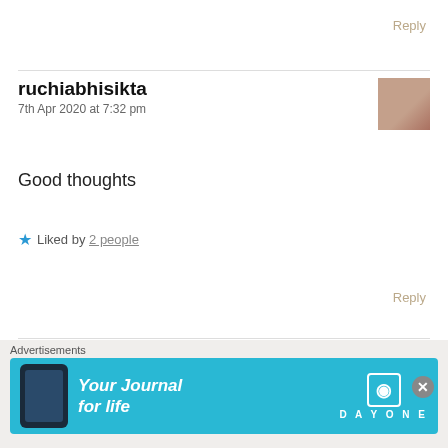Reply
ruchiabhisikta
7th Apr 2020 at 7:32 pm
Good thoughts
★ Liked by 2 people
Reply
Ava Tripathy
[Figure (screenshot): Advertisement banner: 'Your Journal for life' with DAY ONE app logo on blue background]
Advertisements